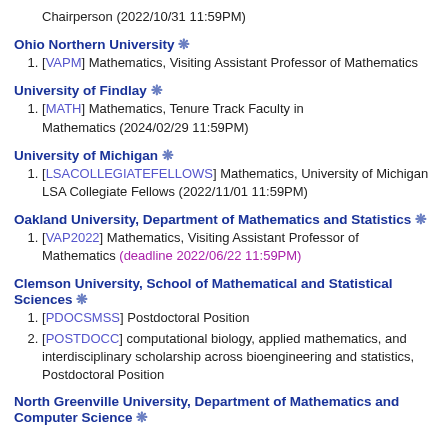Chairperson (2022/10/31 11:59PM)
Ohio Northern University ❋
[VAPM] Mathematics, Visiting Assistant Professor of Mathematics
University of Findlay ❋
[MATH] Mathematics, Tenure Track Faculty in Mathematics (2024/02/29 11:59PM)
University of Michigan ❋
[LSACOLLEGIATEFELLOWS] Mathematics, University of Michigan LSA Collegiate Fellows (2022/11/01 11:59PM)
Oakland University, Department of Mathematics and Statistics ❋
[VAP2022] Mathematics, Visiting Assistant Professor of Mathematics (deadline 2022/06/22 11:59PM)
Clemson University, School of Mathematical and Statistical Sciences ❋
[PDOCSMSS] Postdoctoral Position
[POSTDOCC] computational biology, applied mathematics, and interdisciplinary scholarship across bioengineering and statistics, Postdoctoral Position
North Greenville University, Department of Mathematics and Computer Science ❋